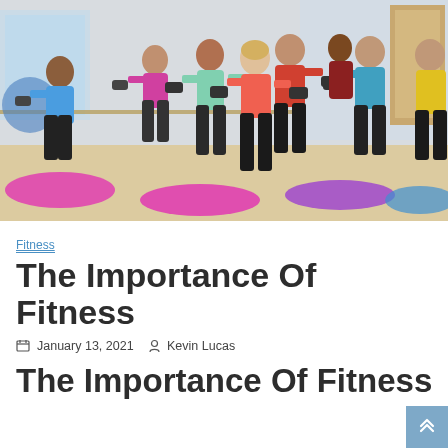[Figure (photo): Group fitness class with multiple people doing lunges while holding dumbbells on colorful exercise mats in a gym studio with mirrors and ballet barres in the background.]
Fitness
The Importance Of Fitness
January 13, 2021   Kevin Lucas
The Importance Of Fitness